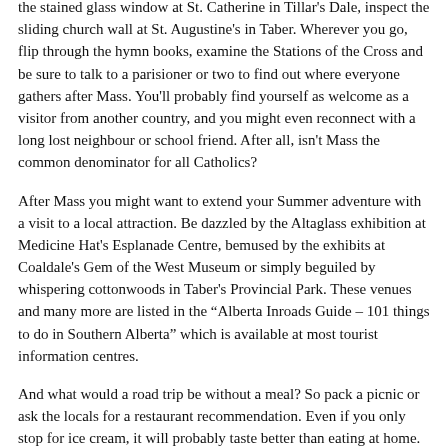the stained glass window at St. Catherine in Tillar's Dale, inspect the sliding church wall at St. Augustine's in Taber. Wherever you go, flip through the hymn books, examine the Stations of the Cross and be sure to talk to a parisioner or two to find out where everyone gathers after Mass. You'll probably find yourself as welcome as a visitor from another country, and you might even reconnect with a long lost neighbour or school friend. After all, isn't Mass the common denominator for all Catholics?
After Mass you might want to extend your Summer adventure with a visit to a local attraction. Be dazzled by the Altaglass exhibition at Medicine Hat's Esplanade Centre, bemused by the exhibits at Coaldale's Gem of the West Museum or simply beguiled by whispering cottonwoods in Taber's Provincial Park. These venues and many more are listed in the “Alberta Inroads Guide – 101 things to do in Southern Alberta” which is available at most tourist information centres.
And what would a road trip be without a meal? So pack a picnic or ask the locals for a restaurant recommendation. Even if you only stop for ice cream, it will probably taste better than eating at home.